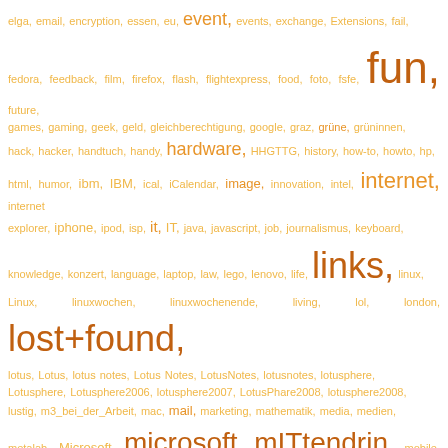[Figure (other): Tag cloud / word cloud with terms related to technology, blogging, and social media. Words are displayed in varying sizes and shades of orange indicating frequency/importance. Terms include: elga, email, encryption, essen, eu, event, events, exchange, Extensions, fail, fedora, feedback, film, firefox, flash, flightexpress, food, foto, fsfe, fun, future, games, gaming, geek, geld, gleichberechtigung, google, graz, grüne, grüninnen, hack, hacker, handtuch, handy, hardware, HHGTTG, history, how-to, howto, hp, html, humor, ibm, IBM, ical, iCalendar, image, innovation, intel, internet, internet explorer, iphone, ipod, isp, it, IT, java, javascript, job, journalismus, keyboard, knowledge, konzert, language, laptop, law, lego, lenovo, life, links, linux, Linux, linuxwochen, linuxwochenende, living, lol, london, lost+found, lotus, Lotus, lotus notes, Lotus Notes, LotusNotes, lotusnotes, lotusphere, Lotusphere, Lotusphere2006, lotusphere2007, LotusPhare2008, lotusphere2008, lustig, m3_bei_der_Arbeit, mac, mail, marketing, mathematik, media, medien, metalab, Microsoft, microsoft, mITtendrin, mobile, mood, movie, mp3, multimedia, music, musik, männer, nasa, netwatcher, network, netzpolitik, news, nokia, Notes, notes, Notes+Domino, office, online, OOXML, open source, openoffice, opensource, orf, orlando, os, outlook, patents, pc, pdf, perl, personal, php, picture, pictures, podcast, politics, politik, pr, press, presse, privacy, privatsphäre, productivity, programming, protest, public speaking, qtalk, quintessenz, quote, quotes, radio, rant, recherche, recht, release, review, rezension, rip, rss, science, search, security, server, settings, sf, shaarli, Show-n-tell thursday, sicherheit, silverlight, SnTT, social media, software, sony]